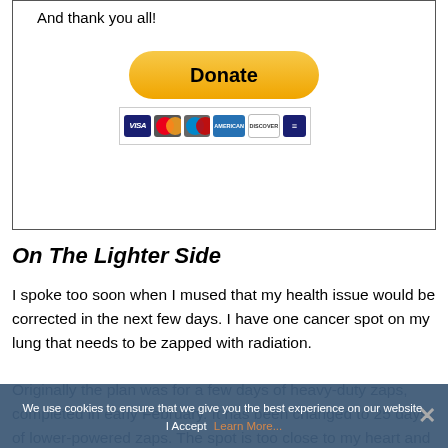And thank you all!
[Figure (other): PayPal Donate button with yellow rounded rectangle and credit card logos below (Visa, Mastercard, Maestro, American Express, Discover, and another card)]
On The Lighter Side
I spoke too soon when I mused that my health issue would be corrected in the next few days. I have one cancer spot on my lung that needs to be zapped with radiation.
Originally the plan was for a few days of heavy-duty zaps, completed in early February. It has been changed to 25 days of lower-powered zaps. The spot is too close to my heart and arteries, and they decided to take a more conservative
We use cookies to ensure that we give you the best experience on our website. I Accept  Learn More...